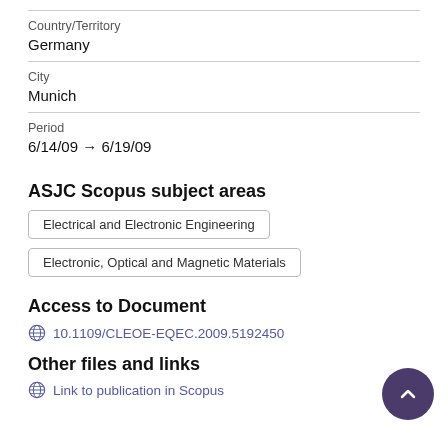Country/Territory
Germany
City
Munich
Period
6/14/09 → 6/19/09
ASJC Scopus subject areas
Electrical and Electronic Engineering
Electronic, Optical and Magnetic Materials
Access to Document
10.1109/CLEOE-EQEC.2009.5192450
Other files and links
Link to publication in Scopus